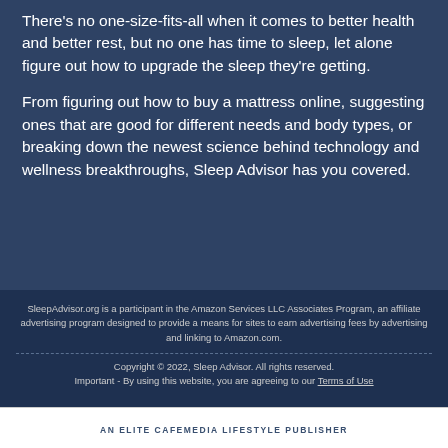There's no one-size-fits-all when it comes to better health and better rest, but no one has time to sleep, let alone figure out how to upgrade the sleep they're getting.
From figuring out how to buy a mattress online, suggesting ones that are good for different needs and body types, or breaking down the newest science behind technology and wellness breakthroughs, Sleep Advisor has you covered.
SleepAdvisor.org is a participant in the Amazon Services LLC Associates Program, an affiliate advertising program designed to provide a means for sites to earn advertising fees by advertising and linking to Amazon.com.
Copyright © 2022, Sleep Advisor. All rights reserved. Important - By using this website, you are agreeing to our Terms of Use
AN ELITE CAFEMEDIA LIFESTYLE PUBLISHER